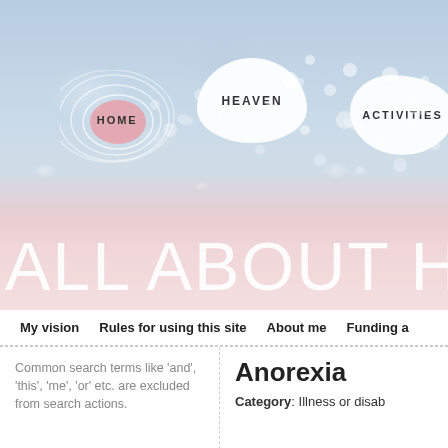[Figure (illustration): Website header banner with painterly blue/pink floral background. Contains navigation elements: HOME in concentric oval rings, HEAVEN in white oval bubble, ACTIVITIES in white rounded blob shape. Large white text 'ALL ABOUT H' spans the bottom of the header.]
My vision   Rules for using this site   About me   Funding a
Common search terms like 'and', 'this', 'me', 'or' etc. are excluded from search actions.
Anorexia
Category: Illness or disab